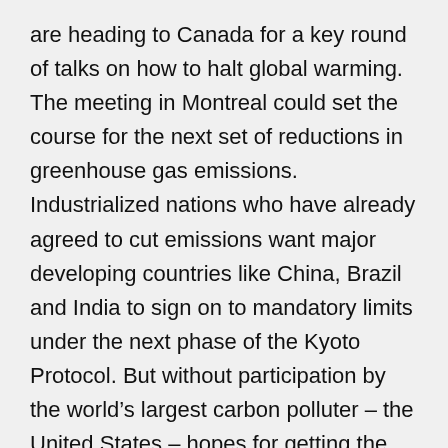are heading to Canada for a key round of talks on how to halt global warming. The meeting in Montreal could set the course for the next set of reductions in greenhouse gas emissions. Industrialized nations who have already agreed to cut emissions want major developing countries like China, Brazil and India to sign on to mandatory limits under the next phase of the Kyoto Protocol. But without participation by the world’s largest carbon polluter – the United States – hopes for getting the big developing countries aboard are slim. Living on Earth’s Jeff Young reports from Washington.
YOUNG: The first international agreement to reduce greenhouse gases, the Kyoto Protocol, just took effect this year. But the countries involved are already looking ahead to their next step – agreements on further cuts beyond the year 2012. Alden Meyer of the Union of Concerned Scientists...